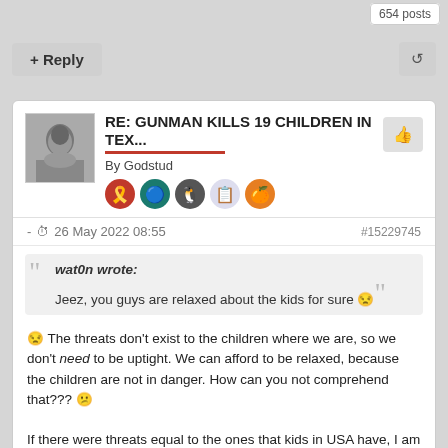654 posts
+ Reply
RE: GUNMAN KILLS 19 CHILDREN IN TEX...
By Godstud
- 26 May 2022 08:55   #15229745
wat0n wrote: Jeez, you guys are relaxed about the kids for sure
The threats don't exist to the children where we are, so we don't need to be uptight. We can afford to be relaxed, because the children are not in danger. How can you not comprehend that???
If there were threats equal to the ones that kids in USA have, I am sure they'd change things. As it stand, they don't need to.